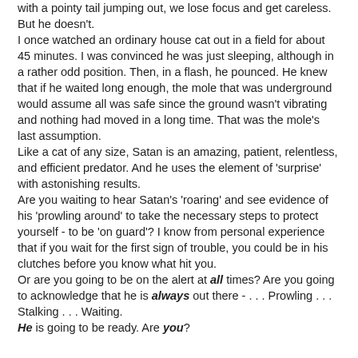with a pointy tail jumping out, we lose focus and get careless.
But he doesn't.
I once watched an ordinary house cat out in a field for about 45 minutes. I was convinced he was just sleeping, although in a rather odd position. Then, in a flash, he pounced. He knew that if he waited long enough, the mole that was underground would assume all was safe since the ground wasn't vibrating and nothing had moved in a long time. That was the mole's last assumption.
Like a cat of any size, Satan is an amazing, patient, relentless, and efficient predator. And he uses the element of 'surprise' with astonishing results.
Are you waiting to hear Satan's 'roaring' and see evidence of his 'prowling around' to take the necessary steps to protect yourself - to be 'on guard'? I know from personal experience that if you wait for the first sign of trouble, you could be in his clutches before you know what hit you.
Or are you going to be on the alert at all times? Are you going to acknowledge that he is always out there - . . . Prowling . . . Stalking . . . Waiting.
He is going to be ready. Are you?